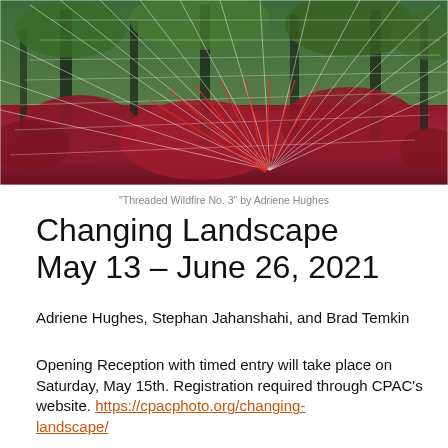[Figure (photo): A forest scene with infrared-like red/pink foliage and green trees, overlaid with geometric white/red thread or light-ray lines creating a grid-like pattern. The image is wide and landscape-oriented.]
"Threaded Wildfire No. 3" by Adriene Hughes
Changing Landscape May 13 – June 26, 2021
Adriene Hughes, Stephan Jahanshahi, and Brad Temkin
Opening Reception with timed entry will take place on Saturday, May 15th. Registration required through CPAC's website. https://cpacphoto.org/changing-landscape/